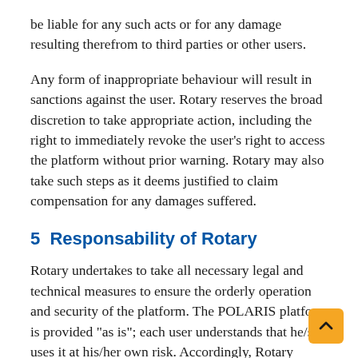be liable for any such acts or for any damage resulting therefrom to third parties or other users.
Any form of inappropriate behaviour will result in sanctions against the user. Rotary reserves the broad discretion to take appropriate action, including the right to immediately revoke the user's right to access the platform without prior warning. Rotary may also take such steps as it deems justified to claim compensation for any damages suffered.
5  Responsability of Rotary
Rotary undertakes to take all necessary legal and technical measures to ensure the orderly operation and security of the platform. The POLARIS platform is provided "as is"; each user understands that he/she uses it at his/her own risk. Accordingly, Rotary cannot guarantee that the platform will be accessible at all times or that no interruption or malfunction will